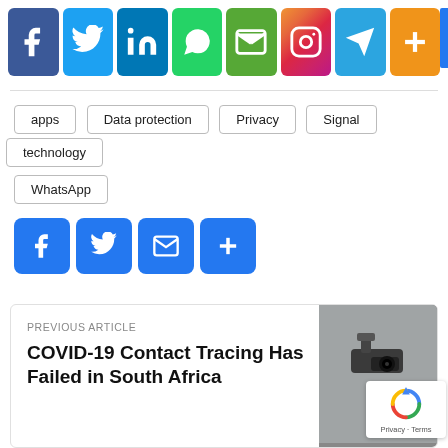[Figure (other): Social media share buttons row: Facebook, Twitter, LinkedIn, WhatsApp, Email, Instagram, Telegram, More]
apps
Data protection
Privacy
Signal
technology
WhatsApp
[Figure (other): Small social share buttons: Facebook, Twitter, Email, More]
PREVIOUS ARTICLE
COVID-19 Contact Tracing Has Failed in South Africa